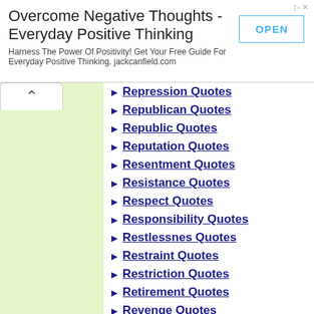[Figure (other): Advertisement banner: 'Overcome Negative Thoughts - Everyday Positive Thinking' with OPEN button and tagline 'Harness The Power Of Positivity! Get Your Free Guide For Everyday Positive Thinking. jackcanfield.com']
Repression Quotes
Republican Quotes
Republic Quotes
Reputation Quotes
Resentment Quotes
Resistance Quotes
Respect Quotes
Responsibility Quotes
Restlessnes Quotes
Restraint Quotes
Restriction Quotes
Retirement Quotes
Revenge Quotes
Reverence Quotes
Revolt Quotes
Revolution Quotes